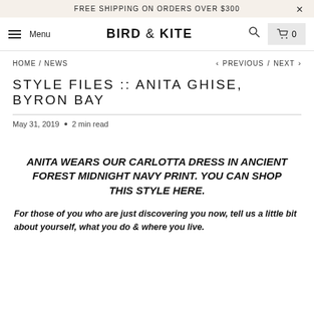FREE SHIPPING ON ORDERS OVER $300
BIRD & KITE Menu
HOME / NEWS < PREVIOUS / NEXT >
STYLE FILES :: ANITA GHISE, BYRON BAY
May 31, 2019 • 2 min read
ANITA WEARS OUR CARLOTTA DRESS IN ANCIENT FOREST MIDNIGHT NAVY PRINT. YOU CAN SHOP THIS STYLE HERE.
For those of you who are just discovering you now, tell us a little bit about yourself, what you do & where you live.